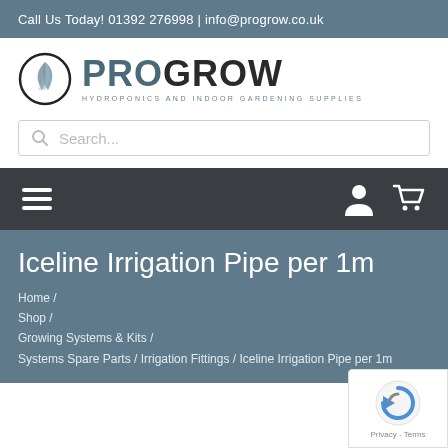Call Us Today! 01392 276998 | info@progrow.co.uk
[Figure (logo): ProGrow logo with leaf icon in circle and text PROGROW HYDROPONICS AND INDOOR GARDENING SUPPLIES]
Search...
Iceline Irrigation Pipe per 1m
Home / Shop / Growing Systems & Kits / Systems Spare Parts / Irrigation Fittings / Iceline Irrigation Pipe per 1m
[Figure (logo): reCAPTCHA badge with Privacy and Terms links]